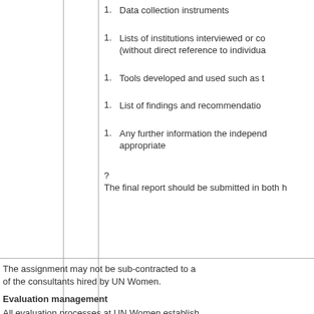1. Data collection instruments
1. Lists of institutions interviewed or co (without direct reference to individua
1. Tools developed and used such as t
1. List of findings and recommendation
1. Any further information the independ appropriate
?
The final report should be submitted in both h
The assignment may not be sub-contracted to a of the consultants hired by UN Women.
Evaluation management
All evaluation processes at UN Women establish the UN Women Evaluation Policy and Handbook